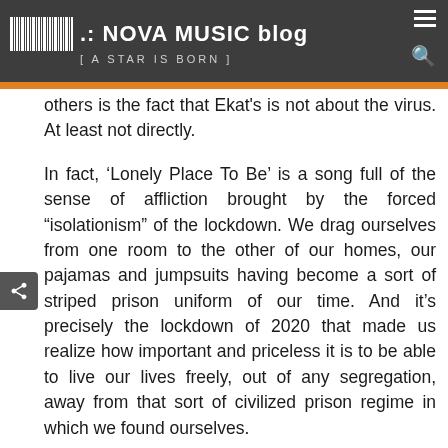.: NOVA MUSIC blog [ A STAR IS BORN ]
others is the fact that Ekat's is not about the virus. At least not directly.
In fact, ‘Lonely Place To Be’ is a song full of the sense of affliction brought by the forced “isolationism” of the lockdown. We drag ourselves from one room to the other of our homes, our pajamas and jumpsuits having become a sort of striped prison uniform of our time. And it’s precisely the lockdown of 2020 that made us realize how important and priceless it is to be able to live our lives freely, out of any segregation, away from that sort of civilized prison regime in which we found ourselves.